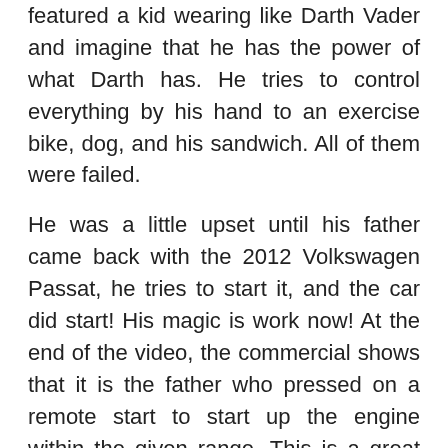featured a kid wearing like Darth Vader and imagine that he has the power of what Darth has. He tries to control everything by his hand to an exercise bike, dog, and his sandwich. All of them were failed.
He was a little upset until his father came back with the 2012 Volkswagen Passat, he tries to start it, and the car did start! His magic is work now! At the end of the video, the commercial shows that it is the father who pressed on a remote start to start up the engine within the given range. This is a great feature for consumer especially during winter time or cold early morning. You can start the car from home to heat up the car engine before driving it so that time could be saved. For hot day, remote starter can also very useful to start up the car and let the AC cool down the interior before you get in.
The commercial is only 1 minute long but it has